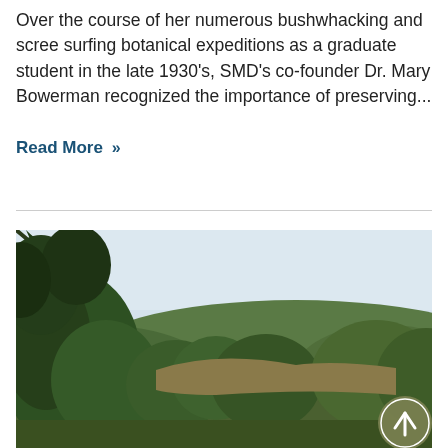Over the course of her numerous bushwhacking and scree surfing botanical expeditions as a graduate student in the late 1930's, SMD's co-founder Dr. Mary Bowerman recognized the importance of preserving...
Read More »
[Figure (photo): Outdoor landscape photograph showing green trees and hills against a hazy light blue sky, with a circular olive-green scroll-up button in the lower right corner.]